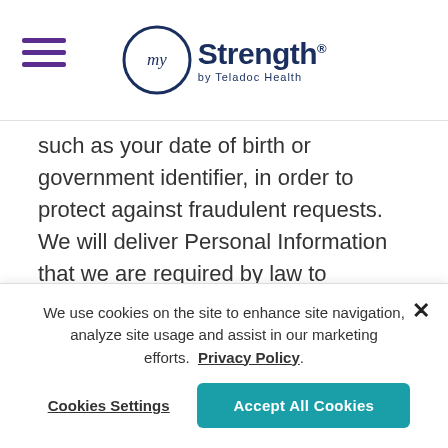[Figure (logo): myStrength by Teladoc Health logo with hamburger menu icon on the left]
such as your date of birth or government identifier, in order to protect against fraudulent requests. We will deliver Personal Information that we are required by law to disclose to you in the manner required by law within 45 days after receipt of a verifiable request, unless we notify you that we require additional time to respond, in which case we will respond within such additional period of time required by law. We may deliver the Personal Information to you electronically or by mail at your option. If electronically, then we will deliver the information in a portable and, to the extent technically feasible, in a readily useable format
We use cookies on the site to enhance site navigation, analyze site usage and assist in our marketing efforts. Privacy Policy
Cookies Settings
Accept All Cookies